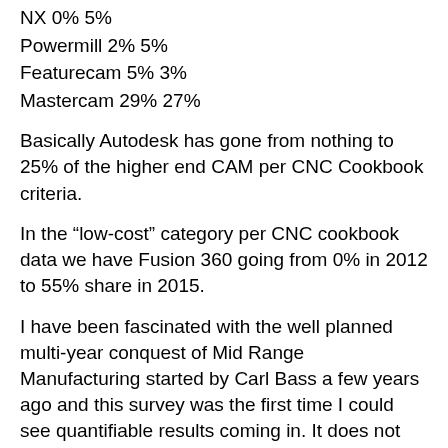NX 0% 5%
Powermill 2% 5%
Featurecam 5% 3%
Mastercam 29% 27%
Basically Autodesk has gone from nothing to 25% of the higher end CAM per CNC Cookbook criteria.
In the “low-cost” category per CNC cookbook data we have Fusion 360 going from 0% in 2012 to 55% share in 2015.
I have been fascinated with the well planned multi-year conquest of Mid Range Manufacturing started by Carl Bass a few years ago and this survey was the first time I could see quantifiable results coming in. It does not look good for the competition. It is not my intent to hammer on the subscription thing here but with these stellar numbers I